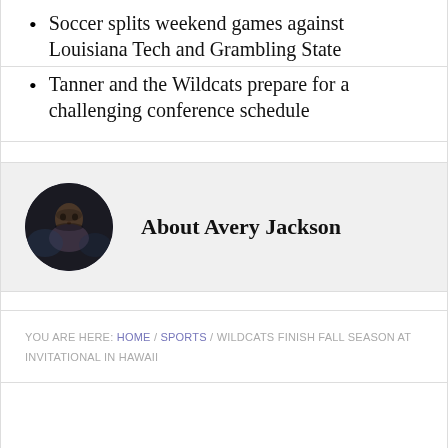Soccer splits weekend games against Louisiana Tech and Grambling State
Tanner and the Wildcats prepare for a challenging conference schedule
About Avery Jackson
[Figure (photo): Circular profile photo of Avery Jackson, a person looking down, dark background]
YOU ARE HERE: HOME / SPORTS / WILDCATS FINISH FALL SEASON AT INVITATIONAL IN HAWAII